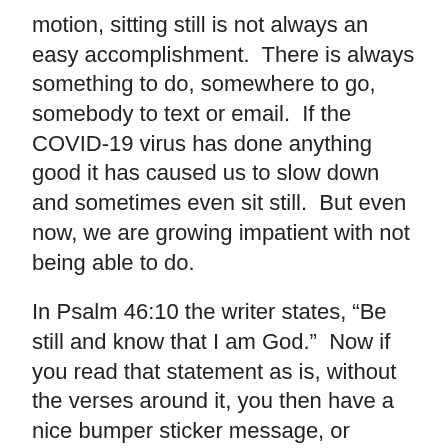motion, sitting still is not always an easy accomplishment.  There is always something to do, somewhere to go, somebody to text or email.  If the COVID-19 virus has done anything good it has caused us to slow down and sometimes even sit still.  But even now, we are growing impatient with not being able to do.
In Psalm 46:10 the writer states, “Be still and know that I am God.”  Now if you read that statement as is, without the verses around it, you then have a nice bumper sticker message, or greeting card verse, or even an online devotion.  However, when you read the verse in context, Psalm 46 describes life as spinning out of control.  The psalmist describes the situation this way, “though the earth give way and the mountains